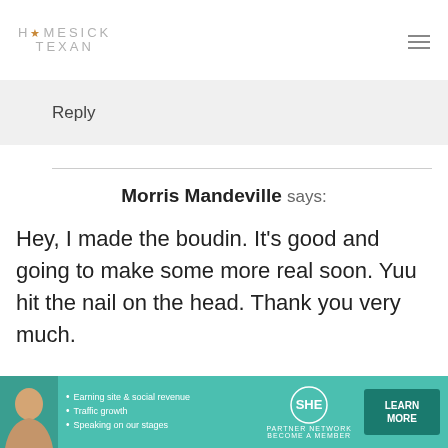HOMESICK TEXAN
Reply
Morris Mandeville says:
Hey, I made the boudin. It's good and going to make some more real soon. Yuu hit the nail on the head. Thank you very much.
Reply
[Figure (infographic): SHE Partner Network advertisement banner with woman photo, bullet points about earning site & social revenue, traffic growth, speaking on our stages, SHE logo, and LEARN MORE button]